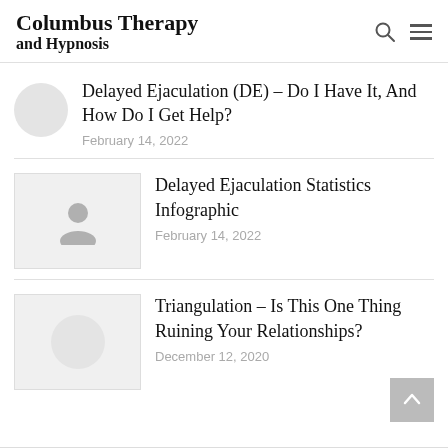Columbus Therapy and Hypnosis
Delayed Ejaculation (DE) – Do I Have It, And How Do I Get Help?
February 14, 2022
Delayed Ejaculation Statistics Infographic
February 14, 2022
Triangulation – Is This One Thing Ruining Your Relationships?
December 12, 2020